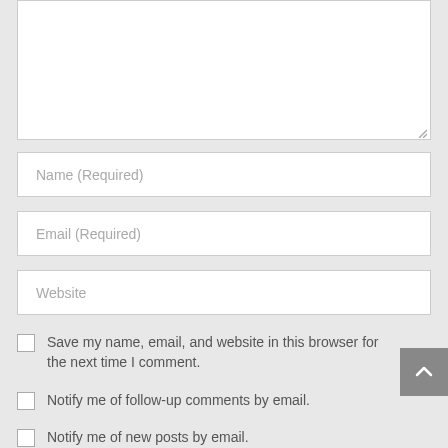[Figure (screenshot): Textarea input box (empty) with resize handle in bottom-right corner]
Name (Required)
Email (Required)
Website
Save my name, email, and website in this browser for the next time I comment.
Notify me of follow-up comments by email.
Notify me of new posts by email.